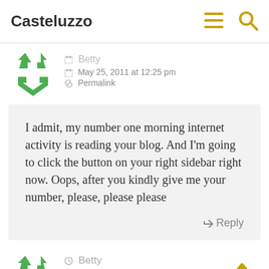Casteluzzo
Betty
May 25, 2011 at 12:25 pm
Permalink
I admit, my number one morning internet activity is reading your blog. And I'm going to click the button on your right sidebar right now. Oops, after you kindly give me your number, please, please please
↩ Reply
Betty
May 25, 2011 at 12:23 pm
Permalink